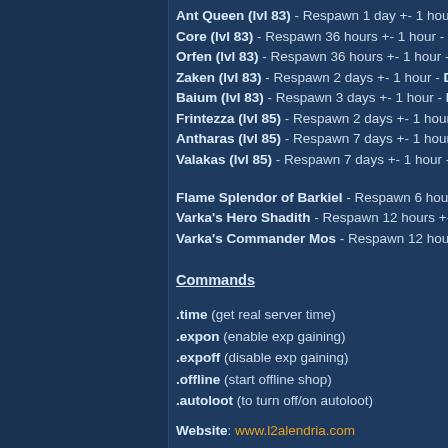Ant Queen (lvl 83) - Respawn 1 day +- 1 hour
Core (lvl 83) - Respawn 36 hours +- 1 hour - D
Orfen (lvl 83) - Respawn 36 hours +- 1 hour -
Zaken (lvl 83) - Respawn 2 days +- 1 hour - D
Baium (lvl 83) - Respawn 3 days +- 1 hour - D
Frintezza (lvl 85) - Respawn 2 days +- 1 hour
Antharas (lvl 85) - Respawn 7 days +- 1 hour
Valakas (lvl 85) - Respawn 7 days +- 1 hour -
Flame Splendor of Barkiel - Respawn 6 hours
Varka's Hero Shadith - Respawn 12 hours +-
Varka's Commander Mos - Respawn 12 hours
Commands
.time (get real server time)
.expon (enable exp gaining)
.expoff (disable exp gaining)
.offline (start offline shop)
.autoloot (to turn off/on autoloot)
Website: www.l2alendria.com
Discord: https://discord.gg/JuguS3shmH